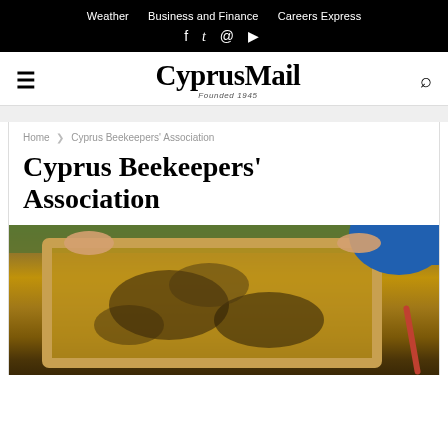Weather  Business and Finance  Careers Express
CyprusMail Founded 1945
Home > Cyprus Beekeepers' Association
Cyprus Beekeepers' Association
[Figure (photo): Person holding a wooden beehive frame covered with bees, outdoors on grass, with a blue sleeve visible at top right]